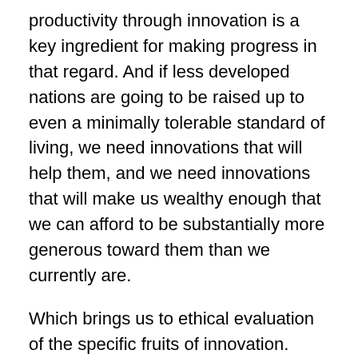productivity through innovation is a key ingredient for making progress in that regard. And if less developed nations are going to be raised up to even a minimally tolerable standard of living, we need innovations that will help them, and we need innovations that will make us wealthy enough that we can afford to be substantially more generous toward them than we currently are.
Which brings us to ethical evaluation of the specific fruits of innovation. Some innovations are plainly good: they make human lives better in concrete ways. Penicillin was a very good innovation. So was the birth control pill. So was the advent of the smartphone. Other innovations are less good: nuclear weapons are a clear candidate here, as perhaps are complex financial instruments such as derivatives, which Warren Buffet famously referred to as “financial weapons of mass destruction.”